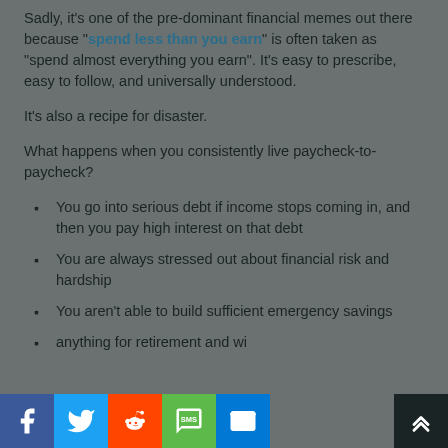Sadly, it’s one of the pre-dominant financial memes out there because “spend less than you earn” is often taken as “spend almost everything you earn”. It’s easy to prescribe, easy to follow, and universally understood.
It’s also a recipe for disaster.
What happens when you consistently live paycheck-to-paycheck?
You go into serious debt if income stops coming in, and then you pay high interest on that debt
You are always stressed out about financial risk and hardship
You aren’t able to build sufficient emergency savings
...anything for retirement and wi...